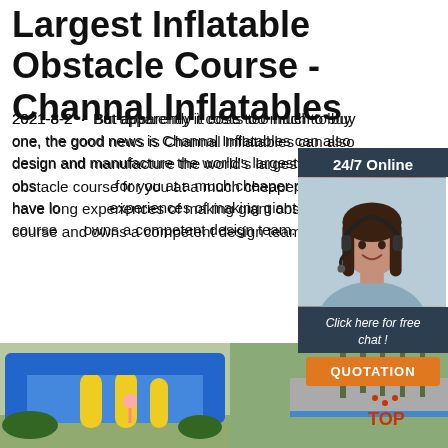Largest Inflatable Obstacle Course - Channal Inflatables
2021-8-2 · But apparently it costs too much to buy one, the good news is Channal Inflatables can also design and manufacture the world's largest inflatable obstacle course for you at a much cheaper price. We have long experiences of making giant obstacle course and owns a competent design team.
[Figure (infographic): Chat widget overlay with 24/7 Online text, photo of woman with headset, 'Click here for free chat!' text, and QUOTATION button]
Get Price
[Figure (photo): Colorful large inflatable obstacle course with blue, yellow and green sections outdoors near a road with trees in the background]